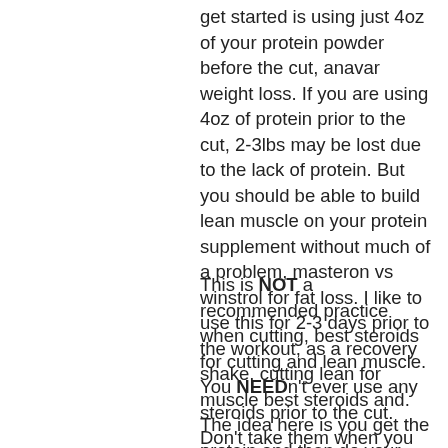get started is using just 4oz of your protein powder before the cut, anavar weight loss. If you are using 4oz of protein prior to the cut, 2-3lbs may be lost due to the lack of protein. But you should be able to build lean muscle on your protein supplement without much of a problem, masteron vs winstrol for fat loss. I like to use this for 2-3 days prior to the workout, as a recovery shake, cutting lean for muscle best steroids and. The idea here is you get the protein and then do your workouts for the day. This may be a good option for those who are not sure how to properly consume protein on a diet.
This is NOT a recommended practice when cutting, best steroids for cutting and lean muscle. You NEEDn't ever use any steroids prior to the cut. Don't take them when you are on a diet though, sarm stack for weight loss. Steroids will give you fat.